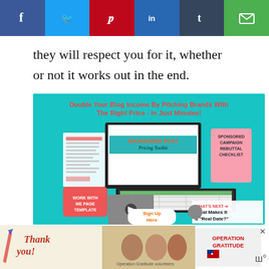[Figure (other): Social media share bar with Facebook (blue), Twitter (light blue), Pinterest (red), LinkedIn (dark blue), Tumblr (dark slate), and Email (green) buttons]
they will respect you for it, whether or not it works out in the end.
[Figure (infographic): Advertisement banner for 'Sponsored Post Pricing Toolkit' - Double Your Blog Income By Pitching Brands With The Right Price - In Just Minutes! Shows laptop, tablet, phone with toolkit materials, Sign Up Here button, and What's Next: What Makes It a "Real Date?" sidebar]
Have you ever had a Sponsored Updating b...
[Figure (infographic): Operation Gratitude thank you advertisement banner at bottom of page]